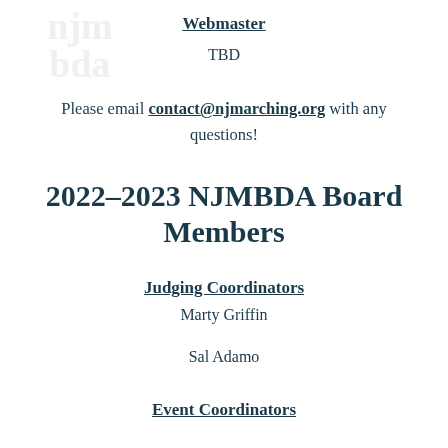Webmaster
TBD
Please email contact@njmarching.org with any questions!
2022–2023 NJMBDA Board Members
Judging Coordinators
Marty Griffin
Sal Adamo
Event Coordinators